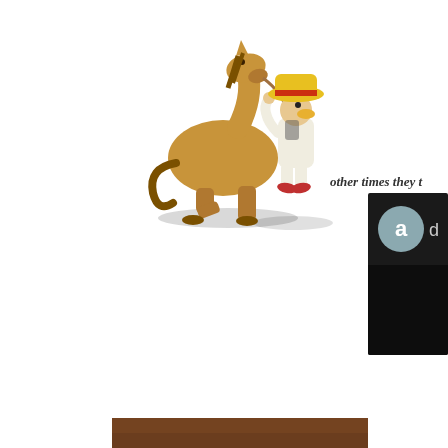[Figure (illustration): 3D cartoon illustration of a small character wearing a large yellow hat and white outfit, leading a brown horse by a rope. The horse is kneeling/sitting. Both figures cast shadows.]
other times they t
[Figure (screenshot): Dark UI panel showing a circular avatar with letter 'a' in grey-blue and the letter 'd' visible to its right, on a dark/black background.]
[Figure (photo): Partial view of a brown/dark image strip at the very bottom of the page.]